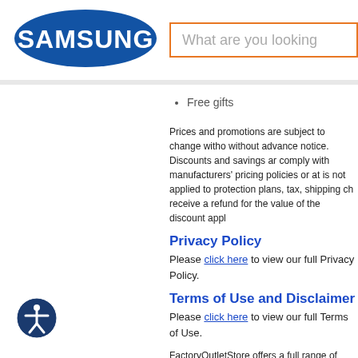[Figure (logo): Samsung logo — white text on blue oval background]
What are you looking
Free gifts
Prices and promotions are subject to change witho without advance notice. Discounts and savings ar comply with manufacturers' pricing policies or at is not applied to protection plans, tax, shipping ch receive a refund for the value of the discount appl
Privacy Policy
Please click here to view our full Privacy Policy.
Terms of Use and Disclaimer
Please click here to view our full Terms of Use.
FactoryOutletStore offers a full range of products manner allege any affiliation between the manufa on this site, placing an order on this site, or for co with FactoryOutletStore.com you acknowledge an products purchased by you the consumer.